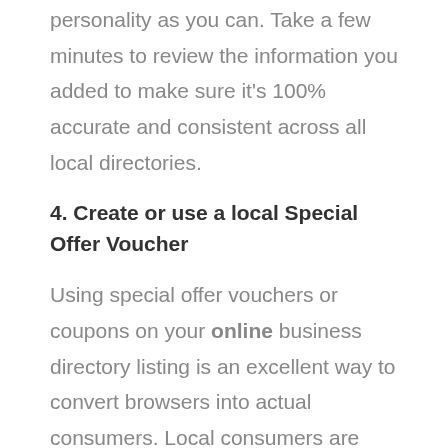personality as you can. Take a few minutes to review the information you added to make sure it's 100% accurate and consistent across all local directories.
4. Create or use a local Special Offer Voucher
Using special offer vouchers or coupons on your online business directory listing is an excellent way to convert browsers into actual consumers. Local consumers are always attracted